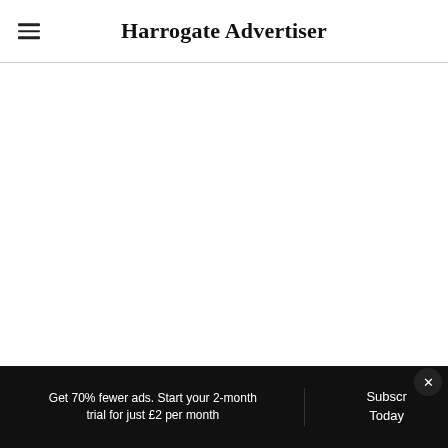Harrogate Advertiser
Get 70% fewer ads. Start your 2-month trial for just £2 per month  Subscribe Today